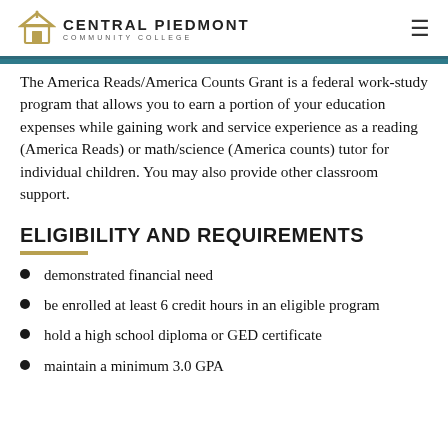Central Piedmont Community College
The America Reads/America Counts Grant is a federal work-study program that allows you to earn a portion of your education expenses while gaining work and service experience as a reading (America Reads) or math/science (America counts) tutor for individual children. You may also provide other classroom support.
ELIGIBILITY AND REQUIREMENTS
demonstrated financial need
be enrolled at least 6 credit hours in an eligible program
hold a high school diploma or GED certificate
maintain a minimum 3.0 GPA